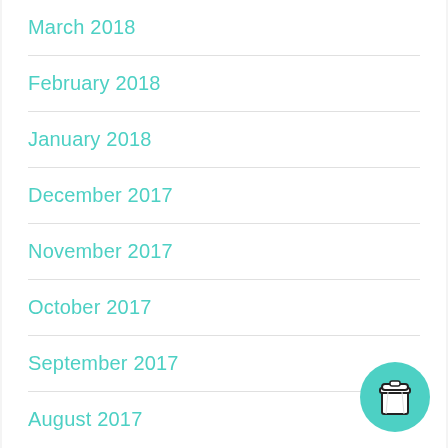March 2018
February 2018
January 2018
December 2017
November 2017
October 2017
September 2017
August 2017
[Figure (illustration): Teal circular button with a to-go coffee cup icon]